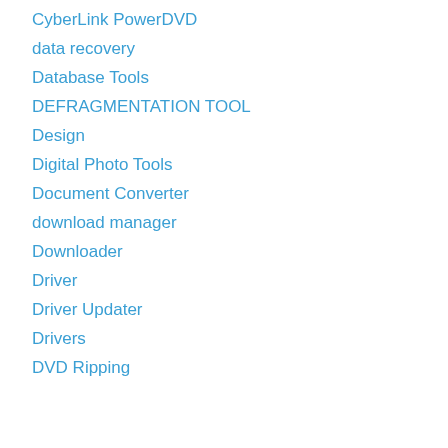Crack Software
CyberLink PowerDVD
data recovery
Database Tools
DEFRAGMENTATION TOOL
Design
Digital Photo Tools
Document Converter
download manager
Downloader
Driver
Driver Updater
Drivers
DVD Ripping